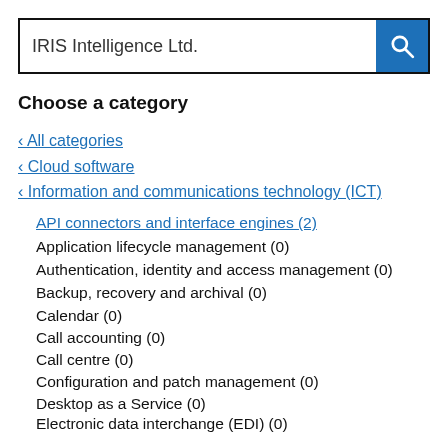IRIS Intelligence Ltd.
Choose a category
< All categories
< Cloud software
< Information and communications technology (ICT)
API connectors and interface engines (2)
Application lifecycle management (0)
Authentication, identity and access management (0)
Backup, recovery and archival (0)
Calendar (0)
Call accounting (0)
Call centre (0)
Configuration and patch management (0)
Desktop as a Service (0)
Electronic data interchange (EDI) (0)
Email and secure email (0)
Fault management, monitoring and alerting (0)